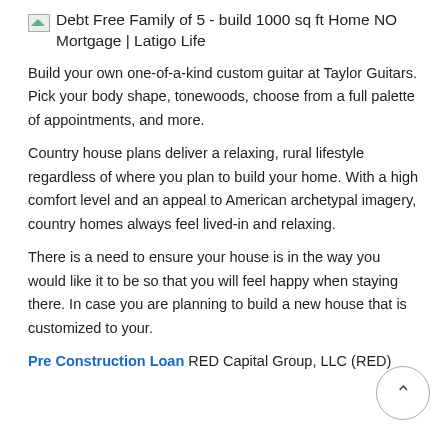[Figure (logo): Small broken image icon followed by text: Debt Free Family of 5 - build 1000 sq ft Home NO Mortgage | Latigo Life]
Build your own one-of-a-kind custom guitar at Taylor Guitars. Pick your body shape, tonewoods, choose from a full palette of appointments, and more.
Country house plans deliver a relaxing, rural lifestyle regardless of where you plan to build your home. With a high comfort level and an appeal to American archetypal imagery, country homes always feel lived-in and relaxing.
There is a need to ensure your house is in the way you would like it to be so that you will feel happy when staying there. In case you are planning to build a new house that is customized to your.
Pre Construction Loan RED Capital Group, LLC (RED)